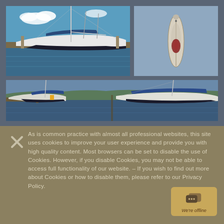[Figure (photo): Sailboat docked at marina, blue sky with clouds, wide-angle view from dock level]
[Figure (illustration): Overhead/top-down schematic illustration of a sailboat hull]
[Figure (photo): Panoramic view of sailboat at marina dock, two panels showing port and starboard sides]
As is common practice with almost all professional websites, this site uses cookies to improve your user experience and provide you with high quality content. Most browsers can be set to disable the use of Cookies. However, if you disable Cookies, you may not be able to access full functionality of our website. – If you wish to find out more about Cookies or how to disable them, please refer to our Privacy Policy.